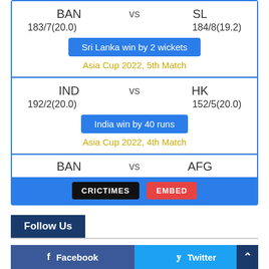[Figure (screenshot): Cricket scores widget showing match results for Asia Cup 2022. Match 1: BAN 183/7(20.0) vs SL 184/8(19.2), Sri Lanka win by 2 wickets. Match 2: IND 192/2(20.0) vs HK 152/5(20.0), India win by 40 runs. Partial match: BAN vs AFG. Footer buttons: CRICTIMES and EMBED.]
Follow Us
Facebook
Twitter
YouTube
LinkedIn